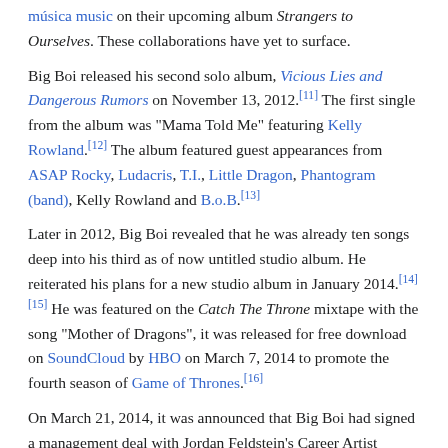on their upcoming album Strangers to Ourselves. These collaborations have yet to surface.
Big Boi released his second solo album, Vicious Lies and Dangerous Rumors on November 13, 2012.[11] The first single from the album was "Mama Told Me" featuring Kelly Rowland.[12] The album featured guest appearances from ASAP Rocky, Ludacris, T.I., Little Dragon, Phantogram (band), Kelly Rowland and B.o.B.[13]
Later in 2012, Big Boi revealed that he was already ten songs deep into his third as of now untitled studio album. He reiterated his plans for a new studio album in January 2014.[14][15] He was featured on the Catch The Throne mixtape with the song "Mother of Dragons", it was released for free download on SoundCloud by HBO on March 7, 2014 to promote the fourth season of Game of Thrones.[16]
On March 21, 2014, it was announced that Big Boi had signed a management deal with Jordan Feldstein's Career Artist Management.[17] On May 10, 2014, it was revealed that Boi had signed a record deal with Epic Records.[18]
Acting career